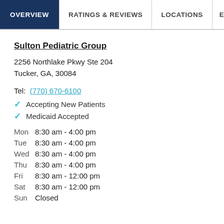OVERVIEW | RATINGS & REVIEWS | LOCATIONS | EX
Sulton Pediatric Group
2256 Northlake Pkwy Ste 204
Tucker, GA, 30084
Tel: (770) 670-6100
Accepting New Patients
Medicaid Accepted
Mon    8:30 am - 4:00 pm
Tue    8:30 am - 4:00 pm
Wed    8:30 am - 4:00 pm
Thu    8:30 am - 4:00 pm
Fri    8:30 am - 12:00 pm
Sat    8:30 am - 12:00 pm
Sun    Closed